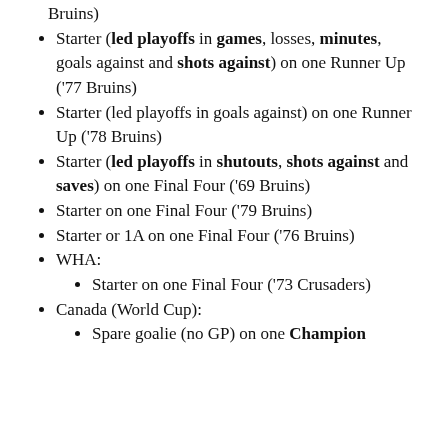Bruins)
Starter (led playoffs in games, losses, minutes, goals against and shots against) on one Runner Up ('77 Bruins)
Starter (led playoffs in goals against) on one Runner Up ('78 Bruins)
Starter (led playoffs in shutouts, shots against and saves) on one Final Four ('69 Bruins)
Starter on one Final Four ('79 Bruins)
Starter or 1A on one Final Four ('76 Bruins)
WHA:
Starter on one Final Four ('73 Crusaders)
Canada (World Cup):
Spare goalie (no GP) on one Champion